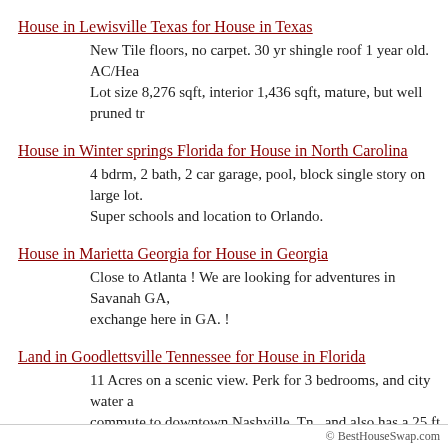House in Lewisville Texas for House in Texas
New Tile floors, no carpet. 30 yr shingle roof 1 year old. AC/Hea... Lot size 8,276 sqft, interior 1,436 sqft, mature, but well pruned tr...
House in Winter springs Florida for House in North Carolina
4 bdrm, 2 bath, 2 car garage, pool, block single story on large lot... Super schools and location to Orlando.
House in Marietta Georgia for House in Georgia
Close to Atlanta ! We are looking for adventures in Savanah GA,... exchange here in GA. !
Land in Goodlettsville Tennessee for House in Florida
11 Acres on a scenic view. Perk for 3 bedrooms, and city water a... commute to downtown Nashville, Tn., and also has a 25 ft. drive...
Land in Goodlettsville,Tn Tennessee for House in Florida
11 Acres on beautiful scenery. Perk for 3 bedroom, and city wate... neighborhood, also, there is a 25ft. driveway to the property. The... downtown Nashville.
1 2 3 4 5 6...
© BestHouseSwap.com